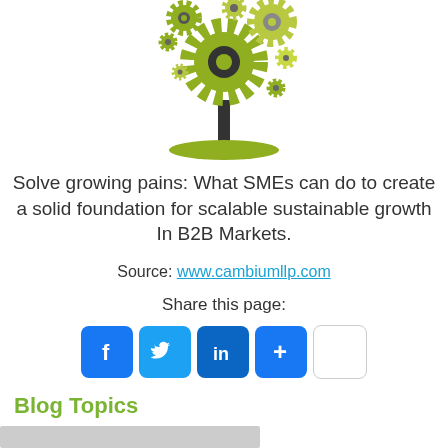[Figure (illustration): A tree-like illustration made of interlocking gears in olive/yellow-green colors with a dark trunk and grass at the base]
Solve growing pains: What SMEs can do to create a solid foundation for scalable sustainable growth In B2B Markets.
Source: www.cambiumllp.com
Share this page:
[Figure (other): Social share buttons: Facebook, Twitter, LinkedIn, plus/share, and a blank button]
Blog Topics